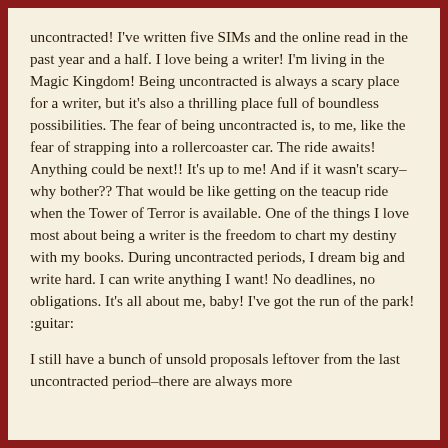uncontracted! I've written five SIMs and the online read in the past year and a half. I love being a writer! I'm living in the Magic Kingdom! Being uncontracted is always a scary place for a writer, but it's also a thrilling place full of boundless possibilities. The fear of being uncontracted is, to me, like the fear of strapping into a rollercoaster car. The ride awaits! Anything could be next!! It's up to me! And if it wasn't scary–why bother?? That would be like getting on the teacup ride when the Tower of Terror is available. One of the things I love most about being a writer is the freedom to chart my destiny with my books. During uncontracted periods, I dream big and write hard. I can write anything I want! No deadlines, no obligations. It's all about me, baby! I've got the run of the park! :guitar:
I still have a bunch of unsold proposals leftover from the last uncontracted period–there are always more